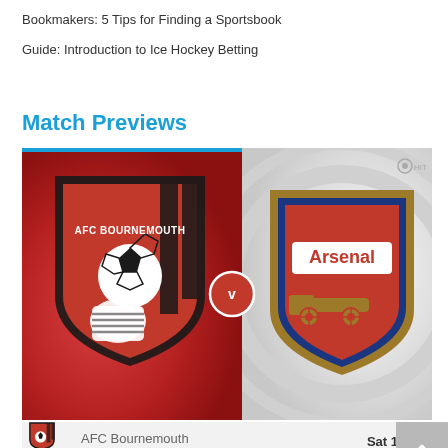Bookmakers: 5 Tips for Finding a Sportsbook
Guide: Introduction to Ice Hockey Betting
Match Previews
[Figure (illustration): Match preview card showing AFC Bournemouth vs Arsenal. Left red half with AFC Bournemouth crest, right grey half with Arsenal crest, 'v' circle in center. Blue top stripe on left side.]
| Team | Date/Time | Action |
| --- | --- | --- |
| AFC Bournemouth | Sat 17:30 |  |
| Arsenal |  | Prediction |